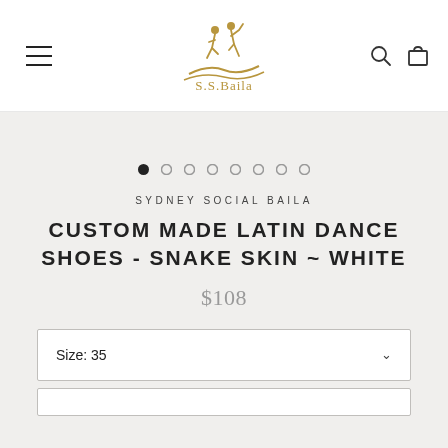[Figure (logo): S.S.Baila logo: gold dancing couple figure above a stylized wave, with text 'S.S.Baila' in gold below]
[Figure (other): Image carousel dot indicators: 8 dots, first filled/active, remaining 7 are empty circles]
SYDNEY SOCIAL BAILA
CUSTOM MADE LATIN DANCE SHOES - SNAKE SKIN ~ WHITE
$108
Size: 35